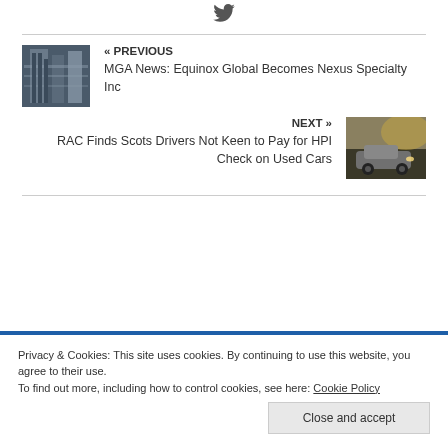[Figure (logo): Twitter bird icon]
« PREVIOUS
MGA News: Equinox Global Becomes Nexus Specialty Inc
[Figure (photo): Photo of a tall building with scaffolding (Lloyd's of London style)]
NEXT »
RAC Finds Scots Drivers Not Keen to Pay for HPI Check on Used Cars
[Figure (photo): Photo of a car driving on a road]
Privacy & Cookies: This site uses cookies. By continuing to use this website, you agree to their use.
To find out more, including how to control cookies, see here: Cookie Policy